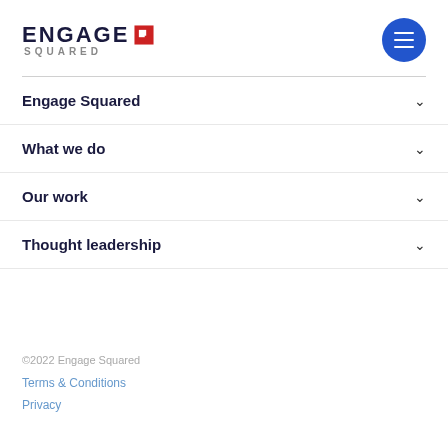ENGAGE SQUARED
Engage Squared
What we do
Our work
Thought leadership
©2022 Engage Squared
Terms & Conditions
Privacy